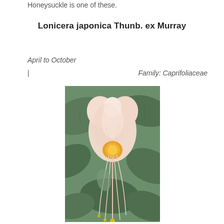Honeysuckle is one of these.
Lonicera japonica Thunb. ex Murray
April to October
| Family: Caprifoliaceae
[Figure (photo): Close-up photograph of a Japanese Honeysuckle (Lonicera japonica) flower with white and pale peach petals and long stamens, against a background of dark blue-green leaves.]